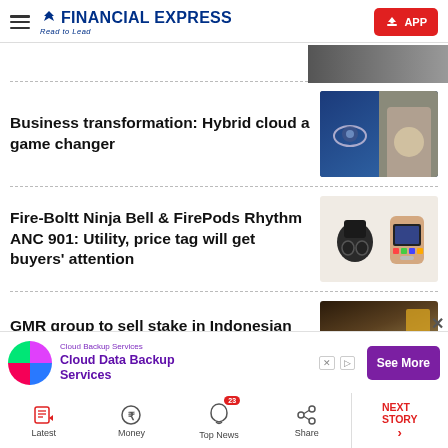Financial Express — Read to Lead
Business transformation: Hybrid cloud a game changer
[Figure (photo): Abstract cloud/tech imagery and a businessman portrait]
Fire-Boltt Ninja Bell & FirePods Rhythm ANC 901: Utility, price tag will get buyers' attention
[Figure (photo): Earbuds and smartwatch product image on light background]
GMR group to sell stake in Indonesian coal mining firm
[Figure (photo): Coal mining site with excavator]
Cloud Backup Services — Cloud Data Backup Services — See More
Latest | Money | Top News (23) | Share | NEXT STORY